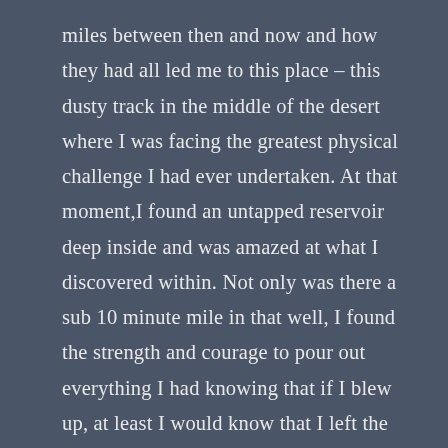miles between then and now and how they had all led me to this place – this dusty track in the middle of the desert where I was facing the greatest physical challenge I had ever undertaken. At that moment,I found an untapped reservoir deep inside and was amazed at what I discovered within. Not only was there a sub 10 minute mile in that well, I found the strength and courage to pour out everything I had knowing that if I blew up, at least I would know that I left the tank on empty. I passed those fading guys in a blur of bewilderment. Even now, it is hard for me to grasp. It was like watching someone else fly around that track. I ran the 96th lap faster than I had the 95 that preceded it and overtook third place less than two hundred yards from the end.